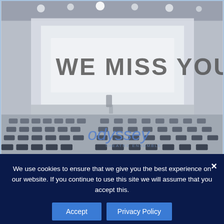[Figure (photo): Interior of an empty theater with rows of seats visible. A large white banner on the stage reads 'WE MISS YOU!' in large stencil-style letters. The Odyssey Theatre Ensemble logo appears in the lower portion of the image.]
We use cookies to ensure that we give you the best experience on our website. If you continue to use this site we will assume that you accept this.